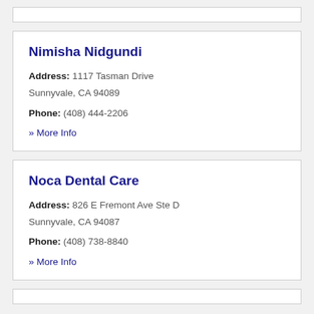Nimisha Nidgundi
Address: 1117 Tasman Drive Sunnyvale, CA 94089
Phone: (408) 444-2206
» More Info
Noca Dental Care
Address: 826 E Fremont Ave Ste D Sunnyvale, CA 94087
Phone: (408) 738-8840
» More Info